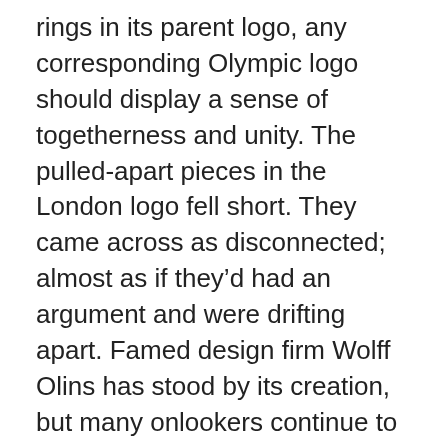rings in its parent logo, any corresponding Olympic logo should display a sense of togetherness and unity. The pulled-apart pieces in the London logo fell short. They came across as disconnected; almost as if they'd had an argument and were drifting apart. Famed design firm Wolff Olins has stood by its creation, but many onlookers continue to disagree.
Is the logo aesthetically pleasing?
Let's talk about aesthetics. A great logo